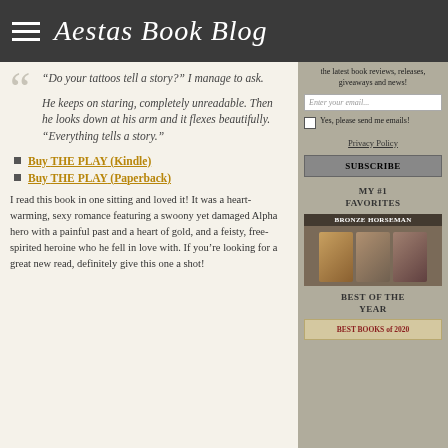Aestas Book Blog
“Do your tattoos tell a story?” I manage to ask.

He keeps on staring, completely unreadable. Then he looks down at his arm and it flexes beautifully. “Everything tells a story.”
Buy THE PLAY (Kindle)
Buy THE PLAY (Paperback)
I read this book in one sitting and loved it! It was a heart-warming, sexy romance featuring a swoony yet damaged Alpha hero with a painful past and a heart of gold, and a feisty, free-spirited heroine who he fell in love with. If you’re looking for a great new read, definitely give this one a shot!
the latest book reviews, releases, giveaways and news!
Enter your email...
Yes, please send me emails!
Privacy Policy
SUBSCRIBE
MY #1 FAVORITES
[Figure (photo): Book cover collage for Bronze Horseman series showing multiple book spines]
BEST OF THE YEAR
[Figure (other): Best Books of 2020 badge]